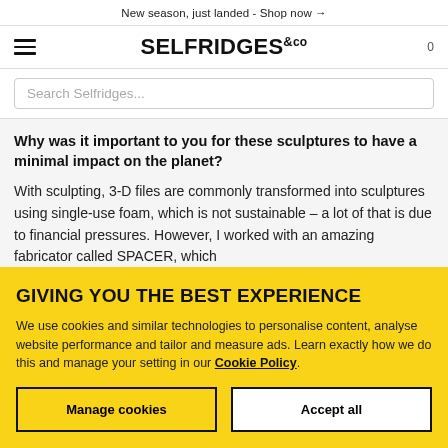New season, just landed - Shop now →
≡  SELFRIDGES&Co  0
Search Selfridges...
Why was it important to you for these sculptures to have a minimal impact on the planet?
With sculpting, 3-D files are commonly transformed into sculptures using single-use foam, which is not sustainable – a lot of that is due to financial pressures. However, I worked with an amazing fabricator called SPACER, which
GIVING YOU THE BEST EXPERIENCE
We use cookies and similar technologies to personalise content, analyse website performance and tailor and measure ads. Learn exactly how we do this and manage your setting in our Cookie Policy.
Manage cookies
Accept all